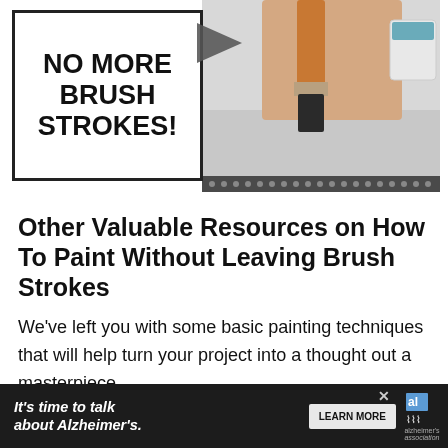[Figure (illustration): A bordered text box on the left reading 'NO MORE BRUSH STROKES!' next to a photo of a hand holding a paint brush on the right, with a play button arrow overlay]
Other Valuable Resources on How To Paint Without Leaving Brush Strokes
We've left you with some basic painting techniques that will help turn your project into a thought out a masterpiece.
Here's an idea: have you ever tried floetrol?
H... e that he...
[Figure (infographic): Advertisement bar at bottom: dark background with 'It's time to talk about Alzheimer's.' text, LEARN MORE button, Alzheimer's Association logo, and close X button]